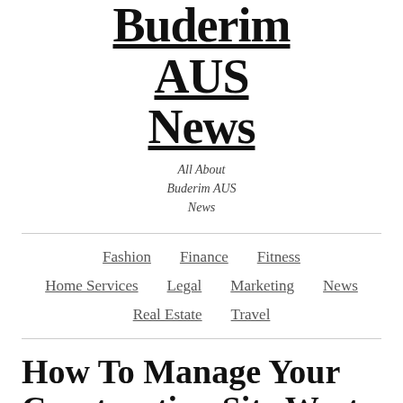Buderim AUS News
All About Buderim AUS News
Fashion
Finance
Fitness
Home Services
Legal
Marketing
News
Real Estate
Travel
How To Manage Your Construction Site Waste